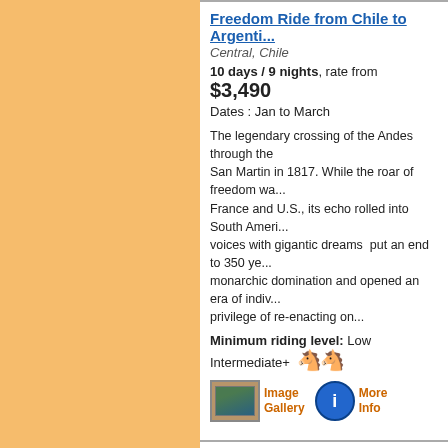Freedom Ride from Chile to Argentina
Central, Chile
10 days / 9 nights, rate from $3,490
Dates : Jan to March
The legendary crossing of the Andes through the San Martin in 1817. While the roar of freedom wa... France and U.S., its echo rolled into South Ameri... voices with gigantic dreams  put an end to 350 ye... monarchic domination and opened an era of indiv... privilege of re-enacting on...
Minimum riding level: Low Intermediate+
[Figure (other): Image Gallery button with photo icon and More Info button with blue info circle icon]
El Triunfo Natural Reserve Ride (IT-CO...)
Andean, Colombia
4 days / 3 nights, rate from $1,200
Dates : Available all Year
Welcome to Colombia: A country rich in different ... in between oceans, jungles, mountains, rivers, de... and wonderful biodiversity! You will visit Honda a... Reserve of Tropical Dry Forest 'El Triunfo' declar... 4500 hectares of protected forest and 3000 hecta... of cooperation between conservati...
Minimum riding level: Beginner
[Figure (other): Partial Image Gallery and More Info buttons at bottom]